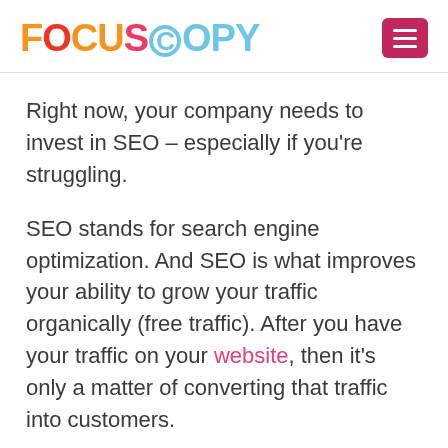FOCUSCOPY
Right now, your company needs to invest in SEO – especially if you're struggling.
SEO stands for search engine optimization. And SEO is what improves your ability to grow your traffic organically (free traffic). After you have your traffic on your website, then it's only a matter of converting that traffic into customers.